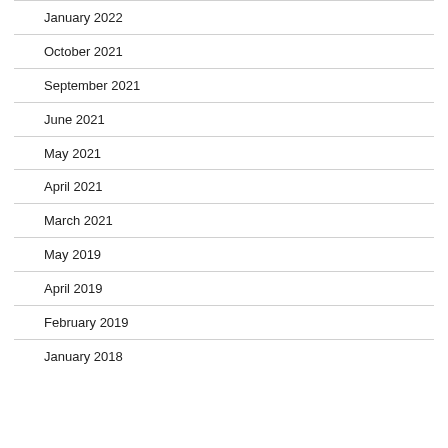January 2022
October 2021
September 2021
June 2021
May 2021
April 2021
March 2021
May 2019
April 2019
February 2019
January 2018